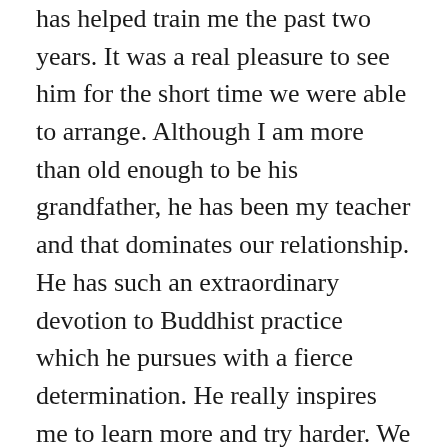has helped train me the past two years. It was a real pleasure to see him for the short time we were able to arrange. Although I am more than old enough to be his grandfather, he has been my teacher and that dominates our relationship. He has such an extraordinary devotion to Buddhist practice which he pursues with a fierce determination. He really inspires me to learn more and try harder. We walked around the city for a few hours. Since it was the weekend the parks and streets were filled with people enjoying their day off. The multitude of little shops were busy some with the owners of some loudly hawking their goods to the passers by.  We heard taiko drumming in the park. He wanted to look for koi fish in a pond in Ueno park. I was astounded to find the pond absolutely filled with